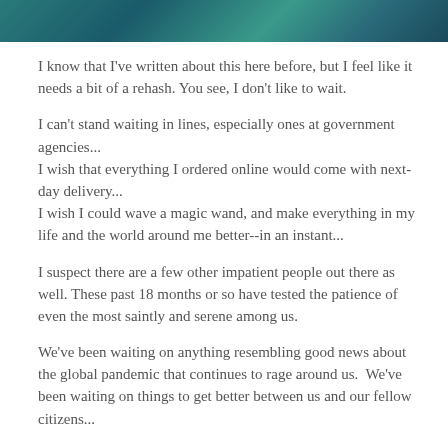[Figure (photo): Header image with teal/dark green abstract or nature background]
I know that I've written about this here before, but I feel like it needs a bit of a rehash. You see, I don't like to wait.
I can't stand waiting in lines, especially ones at government agencies...
I wish that everything I ordered online would come with next-day delivery...
I wish I could wave a magic wand, and make everything in my life and the world around me better--in an instant...
I suspect there are a few other impatient people out there as well. These past 18 months or so have tested the patience of even the most saintly and serene among us.
We've been waiting on anything resembling good news about the global pandemic that continues to rage around us.  We've been waiting on things to get better between us and our fellow citizens...